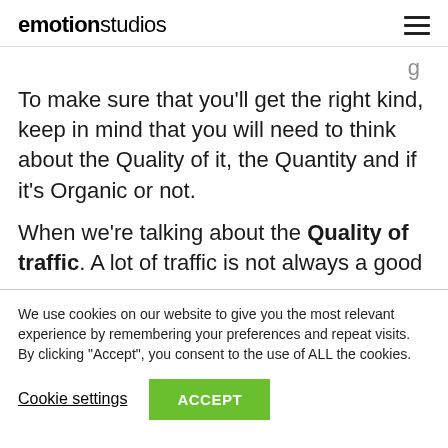emotionstudios
To make sure that you'll get the right kind, keep in mind that you will need to think about the Quality of it, the Quantity and if it's Organic or not.
When we're talking about the Quality of traffic. A lot of traffic is not always a good
We use cookies on our website to give you the most relevant experience by remembering your preferences and repeat visits. By clicking “Accept”, you consent to the use of ALL the cookies.
Cookie settings  ACCEPT